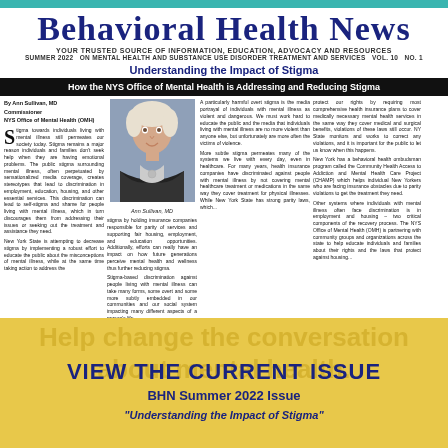BEHAVIORAL HEALTH NEWS
YOUR TRUSTED SOURCE OF INFORMATION, EDUCATION, ADVOCACY AND RESOURCES
SUMMER 2022   ON MENTAL HEALTH AND SUBSTANCE USE DISORDER TREATMENT AND SERVICES   VOL. 10  NO. 1
Understanding the Impact of Stigma
How the NYS Office of Mental Health is Addressing and Reducing Stigma
By Ann Sullivan, MD
Commissioner
NYS Office of Mental Health (OMH)
Stigma towards individuals living with mental illness still permeates our society today. Stigma remains a major reason individuals and families don't seek help when they are having emotional problems. The public stigma surrounding mental illness, often perpetuated by sensationalized media coverage, creates stereotypes that lead to discrimination in employment, education, housing, and other essential services. This discrimination can lead to self-stigma and shame for people living with mental illness, which in turn discourages them from addressing their issues or seeking out the treatment and assistance they need.
New York State is attempting to decrease stigma by implementing a robust effort to educate the public about the misconceptions of mental illness, while at the same time taking action to address the stigma by holding insurance companies responsible for parity of services and supporting fair housing, employment, and education opportunities. Additionally, efforts can really have an impact on how future generations perceive mental health and wellness thus further reducing stigma.
[Figure (photo): Portrait photo of Ann Sullivan, MD, Commissioner of NYS Office of Mental Health]
Ann Sullivan, MD
Stigma-based discrimination against people living with mental illness can take many forms, some overt and some more subtly embedded in our communities and our social system impacting many different aspects of a person's life.
A particularly harmful overt stigma is the media portrayal of individuals with mental illness as violent and dangerous. We must work hard to educate the public and the media that individuals living with mental illness are no more violent than anyone else, but unfortunately are more often the victims of violence.
More subtle stigma permeates many of the systems we live with every day, even in healthcare. For many years, health insurance companies have discriminated against people with mental illness by not covering mental healthcare treatment or medications in the same way they cover treatment for physical illnesses. While New York State has strong parity laws, which...
protect our rights by requiring most comprehensive health insurance plans to cover medically necessary mental health services in the same way they cover medical and surgical benefits, violations of these laws still occur. NY State monitors and works to correct any violations, and it is important for the public to let us know when this happens.
New York has a behavioral health ombudsman program called the Community Health Access to Addiction and Mental Health Care Project (CHAMP) which helps individual New Yorkers who are facing insurance obstacles due to parity violations to get the treatment they need.
Other systems where individuals with mental illness often face discrimination is in employment and housing – two critical components of the recovery process. The NYS Office of Mental Health (OMH) is partnering with community groups and organizations across the state to help educate individuals and families about their rights and the laws that protect against housing...
VIEW THE CURRENT ISSUE
BHN Summer 2022 Issue
"Understanding the Impact of Stigma"